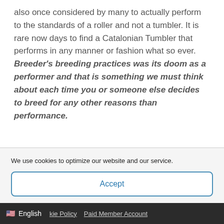also once considered by many to actually perform to the standards of a roller and not a tumbler. It is rare now days to find a Catalonian Tumbler that performs in any manner or fashion what so ever. Breeder's breeding practices was its doom as a performer and that is something we must think about each time you or someone else decides to breed for any other reasons than performance.
We use cookies to optimize our website and our service.
Accept
English   kie Policy   Paid Member Account